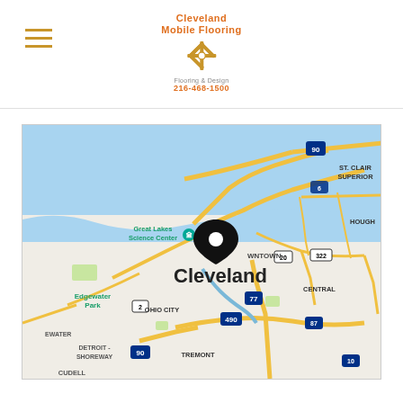Cleveland Mobile Flooring | 216-468-1500
[Figure (map): Google Maps screenshot showing Cleveland, Ohio area with a location pin marker placed near downtown Cleveland. Visible landmarks include Great Lakes Science Center, Edgewater Park, Ohio City, Tremont, Detroit-Shoreway, Cudell, Central, Hough, and St. Clair Superior neighborhoods. Major highways shown include I-90, I-77, I-490, US-6, US-20, US-322, SR-87, and SR-10.]